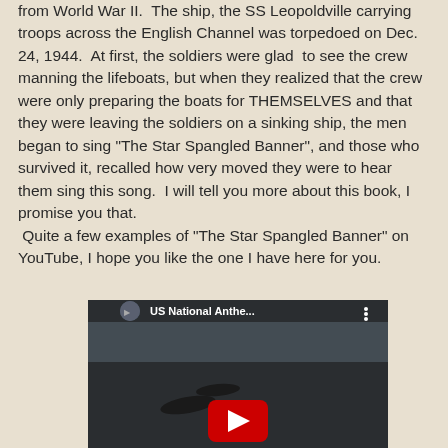from World War II.  The ship, the SS Leopoldville carrying troops across the English Channel was torpedoed on Dec. 24, 1944.  At first, the soldiers were glad  to see the crew manning the lifeboats, but when they realized that the crew were only preparing the boats for THEMSELVES and that they were leaving the soldiers on a sinking ship, the men began to sing "The Star Spangled Banner", and those who survived it, recalled how very moved they were to hear them sing this song.  I will tell you more about this book, I promise you that.
 Quite a few examples of "The Star Spangled Banner" on YouTube, I hope you like the one I have here for you.
[Figure (screenshot): YouTube video thumbnail showing 'US National Anthe...' with a play button, dark background with silhouettes of aircraft]